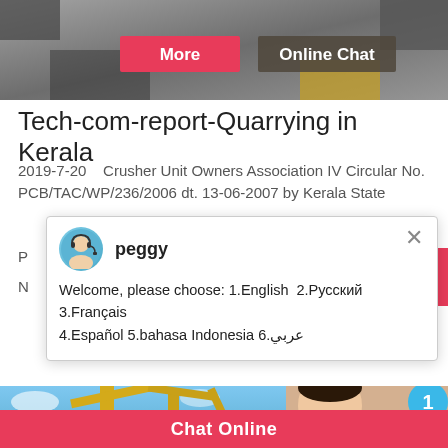[Figure (photo): Top banner image showing quarry/mining equipment with a 'More' button (red) and 'Online Chat' button (dark gray) overlaid]
Tech-com-report-Quarrying in Kerala
2019-7-20    Crusher Unit Owners Association IV Circular No. PCB/TAC/WP/236/2006 dt. 13-06-2007 by Kerala State
[Figure (screenshot): Chat popup with avatar of 'peggy' and message: Welcome, please choose: 1.English  2.Русский 3.Français 4.Español 5.bahasa Indonesia 6.عربي]
[Figure (photo): Lower section photo of quarry with yellow cranes/machinery against blue sky]
[Figure (photo): Customer service representative photo with headset and notification badge showing '1', with 'Need questions & suggestion?' text and 'Chat Now' button]
Chat Online